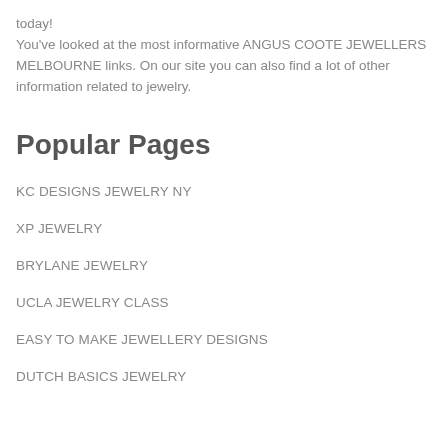today! You've looked at the most informative ANGUS COOTE JEWELLERS MELBOURNE links. On our site you can also find a lot of other information related to jewelry.
Popular Pages
KC DESIGNS JEWELRY NY
XP JEWELRY
BRYLANE JEWELRY
UCLA JEWELRY CLASS
EASY TO MAKE JEWELLERY DESIGNS
DUTCH BASICS JEWELRY